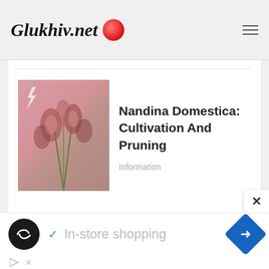Glukhiv.net
[Figure (illustration): Thumbnail image of Nandina Domestica plant with pink background and a lightning bolt watermark icon in the top-left corner]
Nandina Domestica: Cultivation And Pruning
Information
[Figure (infographic): Advertisement banner at the bottom: black circle icon with infinity-like symbol, green checkmark, text 'In-store shopping', blue diamond with right-arrow icon, and small play/close controls at bottom left. A close (×) button appears at the right side of the main content.]